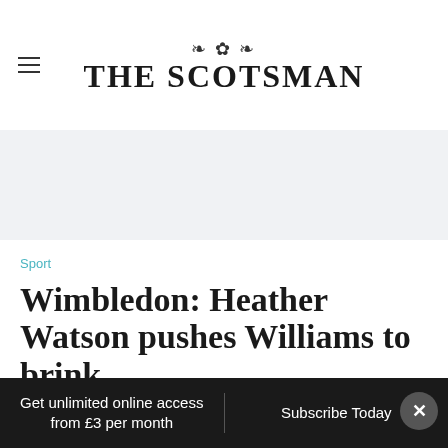THE SCOTSMAN
[Figure (other): Gray advertisement banner placeholder]
Sport
Wimbledon: Heather Watson pushes Williams to brink
SHE once had a poster of Serena Williams on
Get unlimited online access from £3 per month | Subscribe Today